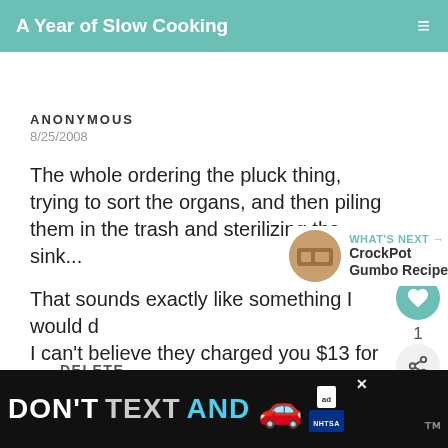A Year of Slow Cooking
ANONYMOUS
8/25/2008
The whole ordering the pluck thing, trying to sort the organs, and then piling them in the trash and sterilizing the sink...

That sounds exactly like something I would do. I can't believe they charged you $13 for offal.
DELETE
WHAT'S NEXT → CrockPot Gumbo Recipe
[Figure (other): Ad banner: DON'T TEXT AND [car emoji] with NHTSA logo]